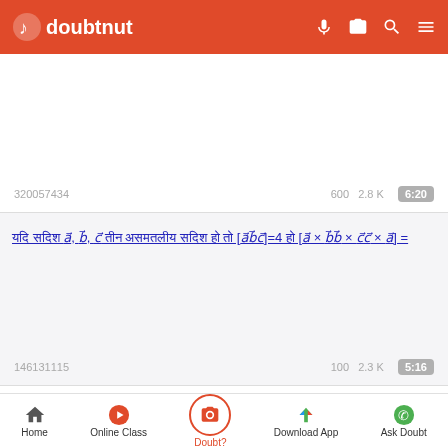doubtnut
320057434   600  2.8K  6:20
146131115   100  2.3K  5:16
Home  Online Class  Doubt?  Download App  Ask Doubt